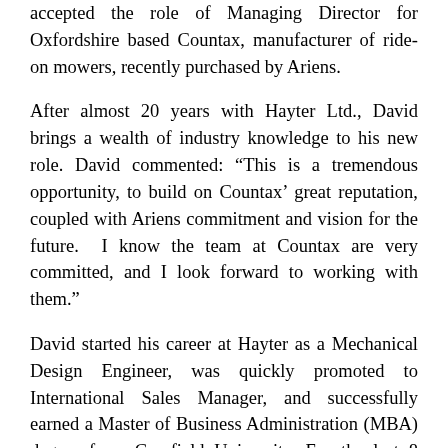accepted the role of Managing Director for Oxfordshire based Countax, manufacturer of ride-on mowers, recently purchased by Ariens.
After almost 20 years with Hayter Ltd., David brings a wealth of industry knowledge to his new role. David commented: “This is a tremendous opportunity, to build on Countax’ great reputation, coupled with Ariens commitment and vision for the future. I know the team at Countax are very committed, and I look forward to working with them.”
David started his career at Hayter as a Mechanical Design Engineer, was quickly promoted to International Sales Manager, and successfully earned a Master of Business Administration (MBA) degree from Cranfield University. For the last 8 years David has been the Sales and Marketing Director, as part of the executive leadership team, David was